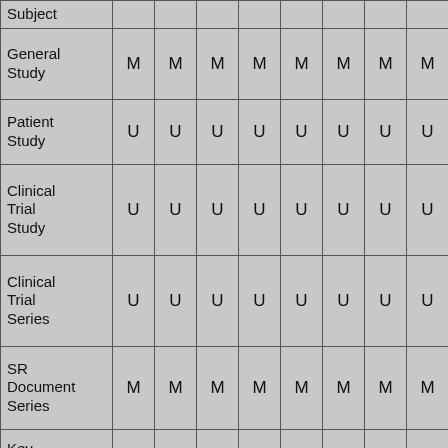| Subject |  |  |  |  |  |  |  |  |  |
| --- | --- | --- | --- | --- | --- | --- | --- | --- | --- |
| General Study | M | M | M | M | M | M | M | M |  |
| Patient Study | U | U | U | U | U | U | U | U |  |
| Clinical Trial Study | U | U | U | U | U | U | U | U |  |
| Clinical Trial Series | U | U | U | U | U | U | U | U |  |
| SR Document Series | M | M | M | M | M | M | M | M |  |
| Key Object Document Series |  |  |  |  |  |  |  |  |  |
| Sync. | C | C | C | C |  |  | C | C |  |
| General | M | M | M | M | M | M | M | M |  |